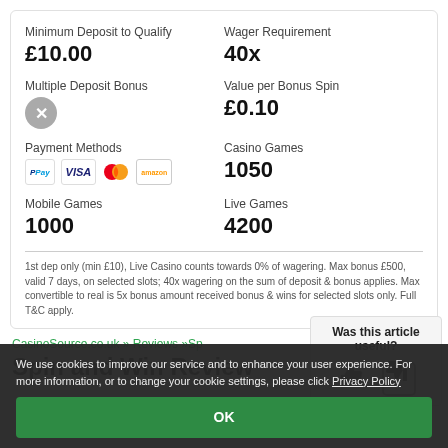| Label | Value |
| --- | --- |
| Minimum Deposit to Qualify | £10.00 |
| Wager Requirement | 40x |
| Multiple Deposit Bonus | ✗ |
| Value per Bonus Spin | £0.10 |
| Payment Methods | PayPal, Visa, Mastercard, Amazon |
| Casino Games | 1050 |
| Mobile Games | 1000 |
| Live Games | 4200 |
1st dep only (min £10), Live Casino counts towards 0% of wagering. Max bonus £500, valid 7 days, on selected slots; 40x wagering on the sum of deposit & bonus applies. Max convertible to real is 5x bonus amount received bonus & wins for selected slots only. Full T&C apply.
CasinoSource.co.uk » Reviews »Sp
Spin and Win Review
Was this article useful?
We use cookies to improve our service and to enhance your user experience. For more information, or to change your cookie settings, please click Privacy Policy
OK